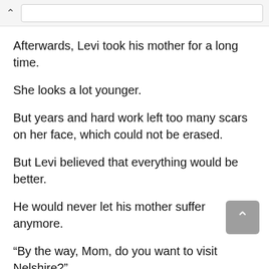^ [search bar]
Afterwards, Levi took his mother for a long time.
She looks a lot younger.
But years and hard work left too many scars on her face, which could not be erased.
But Levi believed that everything would be better.
He would never let his mother suffer anymore.
“By the way, Mom, do you want to visit Nelshire?”
Levi asked.
Ollio shook her head: “I’m not going anymore, I’m